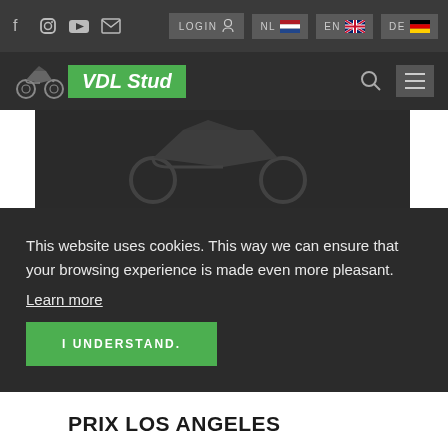LOGIN  NL  EN  DE
[Figure (logo): VDL Stud logo with motorcycle silhouette and green banner]
[Figure (photo): Dark hero image with faint motorcycle watermark]
This website uses cookies. This way we can ensure that your browsing experience is made even more pleasant.
Learn more
I UNDERSTAND.
PRIX LOS ANGELES